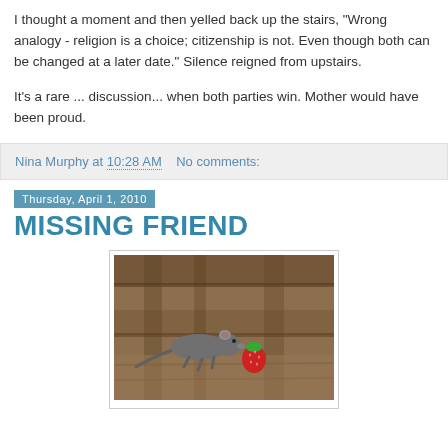I thought a moment and then yelled back up the stairs, "Wrong analogy - religion is a choice; citizenship is not. Even though both can be changed at a later date." Silence reigned from upstairs.
It's a rare ... discussion... when both parties win. Mother would have been proud.
Nina Murphy at 10:28 AM   No comments:
Thursday, April 1, 2010
MISSING FRIEND
[Figure (photo): A small grey rat figurine eating a red strawberry, photographed on wooden beams/furniture.]